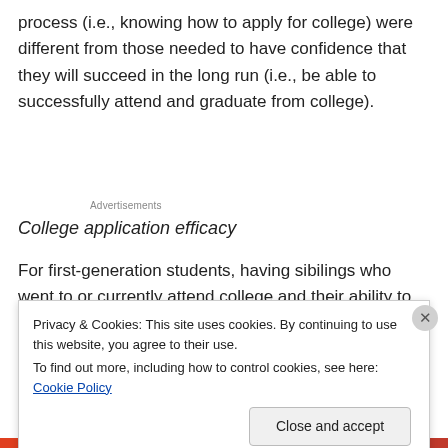process (i.e., knowing how to apply for college) were different from those needed to have confidence that they will succeed in the long run (i.e., be able to successfully attend and graduate from college).
Advertisements
College application efficacy
For first-generation students, having sibilings who went to or currently attend college and their ability to actively get
Privacy & Cookies: This site uses cookies. By continuing to use this website, you agree to their use.
To find out more, including how to control cookies, see here: Cookie Policy